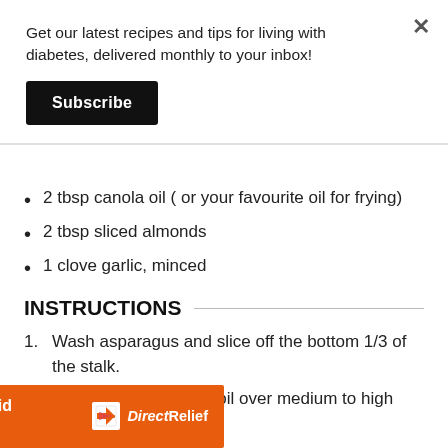Get our latest recipes and tips for living with diabetes, delivered monthly to your inbox!
Subscribe
2 tbsp canola oil ( or your favourite oil for frying)
2 tbsp sliced almonds
1 clove garlic, minced
INSTRUCTIONS
1. Wash asparagus and slice off the bottom 1/3 of the stalk.
2. In a large skillet, heat oil over medium to high
Help send medical aid to Ukraine >> DirectRelief